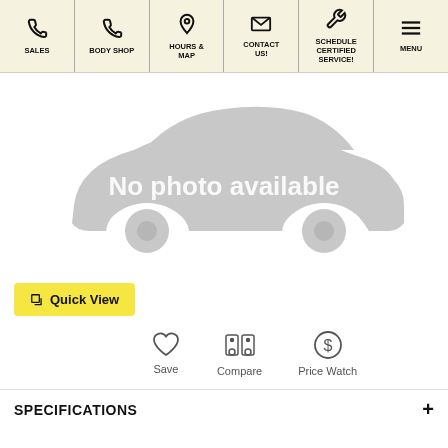[Figure (screenshot): Website navigation bar with icons and labels: SALES, BODY SHOP, HOURS & MAP, CONTACT US!, SCHEDULE CERTIFIED SERVICE!, MENU]
[Figure (illustration): Gray car silhouette placeholder image with 'No photo available' text overlay]
Quick View
[Figure (infographic): Three action icons: Save (heart), Compare (car doors), Price Watch (dollar sign)]
SPECIFICATIONS